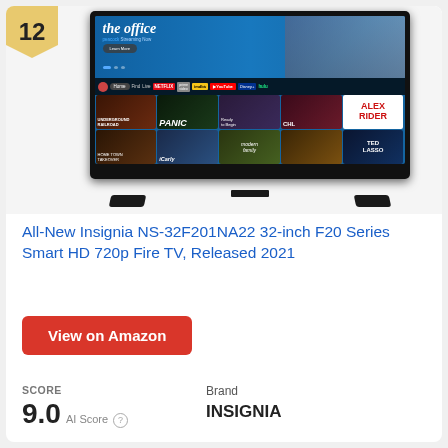[Figure (photo): A 32-inch Insignia Fire TV showing The Office on Peacock streaming, with Fire TV home screen UI visible including Netflix, IMDb TV, YouTube, Disney+, hulu navigation bar and content thumbnails]
All-New Insignia NS-32F201NA22 32-inch F20 Series Smart HD 720p Fire TV, Released 2021
View on Amazon
SCORE
9.0  AI Score
Brand
INSIGNIA